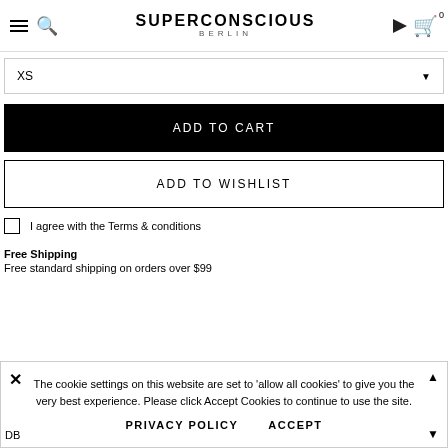SUPERCONSCIOUS BERLIN
XS
ADD TO CART
ADD TO WISHLIST
I agree with the Terms & conditions
Free Shipping
Free standard shipping on orders over $99
The cookie settings on this website are set to 'allow all cookies' to give you the very best experience. Please click Accept Cookies to continue to use the site.
PRIVACY POLICY   ACCEPT